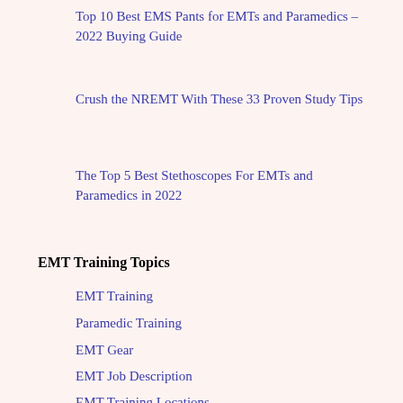Top 10 Best EMS Pants for EMTs and Paramedics – 2022 Buying Guide
Crush the NREMT With These 33 Proven Study Tips
The Top 5 Best Stethoscopes For EMTs and Paramedics in 2022
EMT Training Topics
EMT Training
Paramedic Training
EMT Gear
EMT Job Description
EMT Training Locations